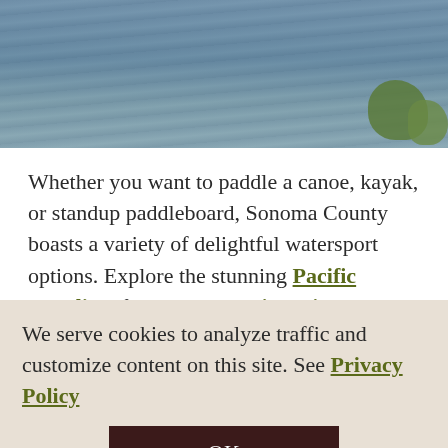[Figure (photo): Aerial or close view of water surface with aquatic plants visible at the right edge, showing blue-grey rippling water.]
Whether you want to paddle a canoe, kayak, or standup paddleboard, Sonoma County boasts a variety of delightful watersport options. Explore the stunning Pacific coastline, follow the Russian River as it winds its way through Sonoma County, investigate the wide waters of Lake Sonoma, join the locals on the 72-acre Spring Lake, or even take
We serve cookies to analyze traffic and customize content on this site. See Privacy Policy